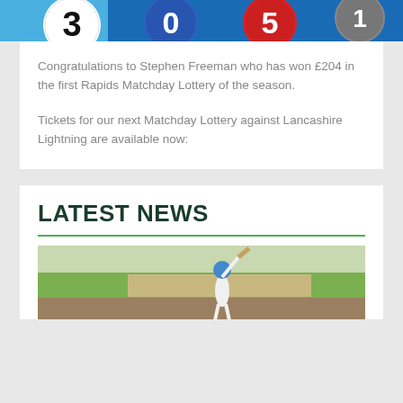[Figure (photo): Colourful bingo/lottery balls with numbers, partial view at top of page]
Congratulations to Stephen Freeman who has won £204 in the first Rapids Matchday Lottery of the season.
Tickets for our next Matchday Lottery against Lancashire Lightning are available now:
LATEST NEWS
[Figure (photo): Cricket player batting on a cricket ground, aerial/side view]